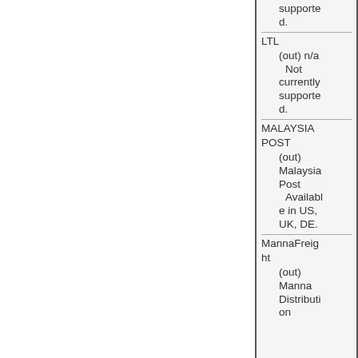|  | supported. |
| LTL | (out) n/a
Not currently supported. |
| MALAYSIA POST | (out) Malaysia Post
Available in US, UK, DE. |
| MannaFreight | (out) Manna Distribution |